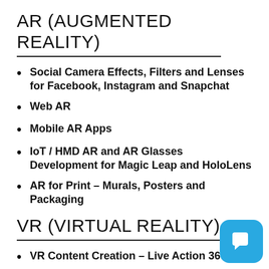AR (AUGMENTED REALITY)
Social Camera Effects, Filters and Lenses for Facebook, Instagram and Snapchat
Web AR
Mobile AR Apps
IoT / HMD AR and AR Glasses Development for Magic Leap and HoloLens
AR for Print – Murals, Posters and Packaging
VR (VIRTUAL REALITY)
VR Content Creation – Live Action 360 V... Production Service...